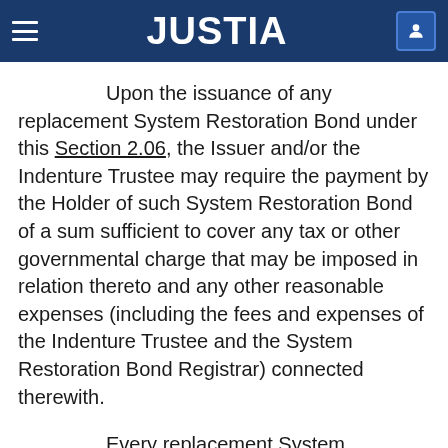JUSTIA
Upon the issuance of any replacement System Restoration Bond under this Section 2.06, the Issuer and/or the Indenture Trustee may require the payment by the Holder of such System Restoration Bond of a sum sufficient to cover any tax or other governmental charge that may be imposed in relation thereto and any other reasonable expenses (including the fees and expenses of the Indenture Trustee and the System Restoration Bond Registrar) connected therewith.
Every replacement System Restoration Bond issued pursuant to this Section 2.06 in replacement of any mutilated, destroyed, lost or stolen System Restoration Bond shall constitute an original additional contractual obligation of the Issuer, whether